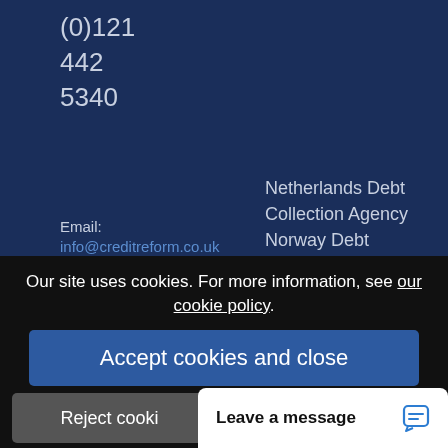(0)121
442
5340
Email:
info@creditreform.co.uk
Netherlands Debt Collection Agency
Norway Debt Collection Agency
Poland Debt Collection Agency
Portugal Debt Collection Agency
Agency
Russia Debt Collection
Spain Debt Collection
Our site uses cookies. For more information, see our cookie policy.
Accept cookies and close
Reject cooki
Leave a message